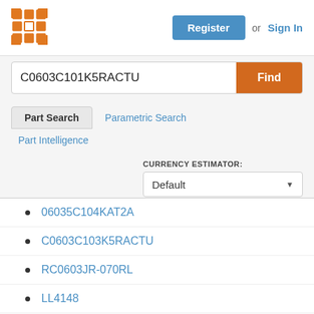[Figure (logo): Orange grid/matrix logo icon]
Register or Sign In
C0603C101K5RACTU
Find
Part Search
Parametric Search
Part Intelligence
CURRENCY ESTIMATOR:
Default
06035C104KAT2A
C0603C103K5RACTU
RC0603JR-070RL
LL4148
EMK325ABJ107MM-T
HLG-240H-C1750